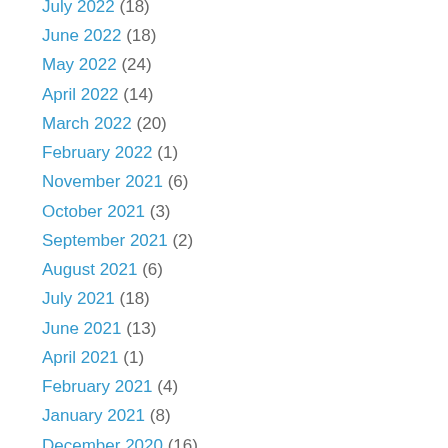July 2022 (18)
June 2022 (18)
May 2022 (24)
April 2022 (14)
March 2022 (20)
February 2022 (1)
November 2021 (6)
October 2021 (3)
September 2021 (2)
August 2021 (6)
July 2021 (18)
June 2021 (13)
April 2021 (1)
February 2021 (4)
January 2021 (8)
December 2020 (16)
November 2020 (10)
October 2020 (2)